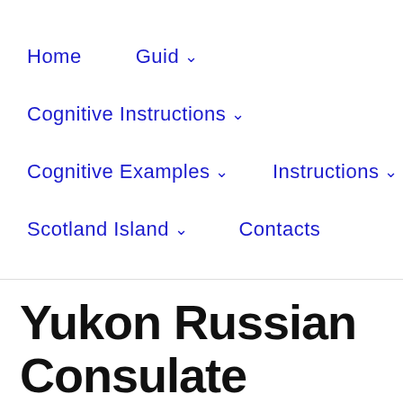Home   Guid ˅   Cognitive Instructions ˅   Cognitive Examples ˅   Instructions ˅   Scotland Island ˅   Contacts
Yukon Russian Consulate